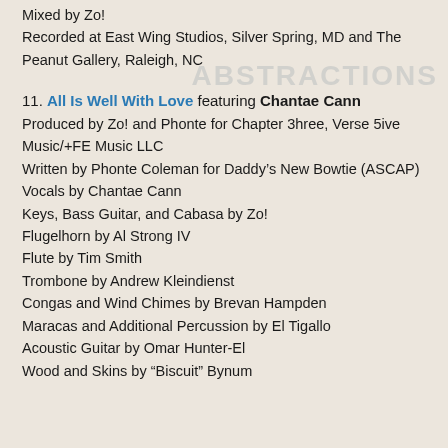Mixed by Zo!
Recorded at East Wing Studios, Silver Spring, MD and The Peanut Gallery, Raleigh, NC
11. All Is Well With Love featuring Chantae Cann
Produced by Zo! and Phonte for Chapter 3hree, Verse 5ive Music/+FE Music LLC
Written by Phonte Coleman for Daddy’s New Bowtie (ASCAP)
Vocals by Chantae Cann
Keys, Bass Guitar, and Cabasa by Zo!
Flugelhorn by Al Strong IV
Flute by Tim Smith
Trombone by Andrew Kleindienst
Congas and Wind Chimes by Brevan Hampden
Maracas and Additional Percussion by El Tigallo
Acoustic Guitar by Omar Hunter-El
Wood and Skins by “Biscuit” Bynum